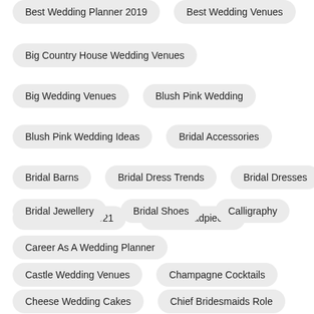Best Wedding Planner 2019
Best Wedding Venues
Big Country House Wedding Venues
Big Wedding Venues
Blush Pink Wedding
Blush Pink Wedding Ideas
Bridal Accessories
Bridal Barns
Bridal Dress Trends
Bridal Dresses
Bridal Dresses 2021
Bridal Headpieces
Bridal Jewellery
Bridal Shoes
Calligraphy
Career As A Wedding Planner
Castle Wedding Venues
Champagne Cocktails
Cheese Wedding Cakes
Chief Bridesmaids Role
Chocolate Truffle Wedding Cake